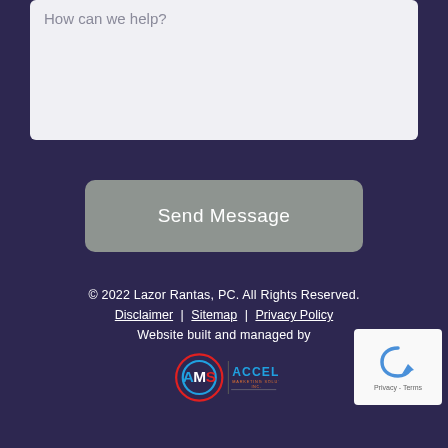How can we help?
Send Message
© 2022 Lazor Rantas, PC. All Rights Reserved.
Disclaimer | Sitemap | Privacy Policy
Website built and managed by
[Figure (logo): AMS Accel Marketing Solutions Inc. logo with circular AMS emblem and ACCEL text]
[Figure (other): reCAPTCHA widget showing checkmark icon with Privacy and Terms links]